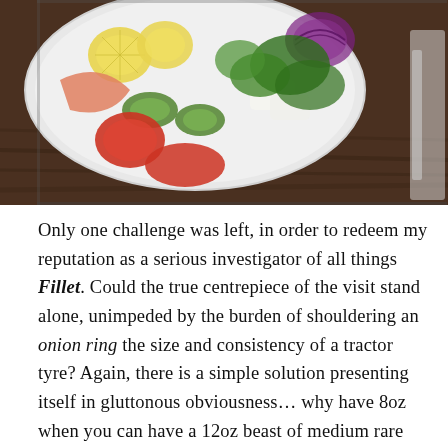[Figure (photo): Overhead photo of a white plate with a salad containing tomatoes, cucumber, red onion, herbs (parsley/coriander), lemon slices, and what appears to be smoked salmon and feta cheese, on a dark wooden table.]
Only one challenge was left, in order to redeem my reputation as a serious investigator of all things Fillet. Could the true centrepiece of the visit stand alone, unimpeded by the burden of shouldering an onion ring the size and consistency of a tractor tyre? Again, there is a simple solution presenting itself in gluttonous obviousness… why have 8oz when you can have a 12oz beast of medium rare succulence? Even accompanied by a mega slice of cooked tomato, this animal has no